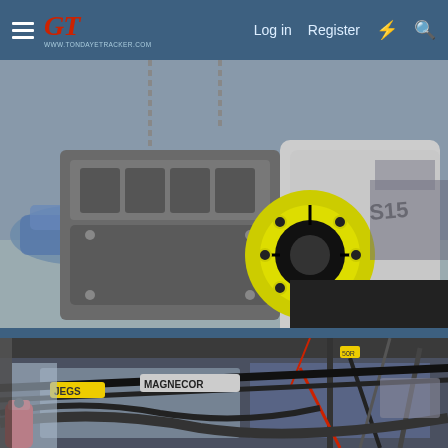GT forum website header with hamburger menu, GT logo, Log in, Register, notification icon, and search icon
[Figure (photo): A person wearing a grey t-shirt and blue glove lifting a bare engine block with a yellow clutch/flywheel assembly attached, suspended by chains. A car with a license plate partially reading TERO is visible in the background on a parking lot.]
[Figure (photo): Close-up of an engine bay showing black ignition wires labeled JEGS and MAGNECOR, hoses, wiring harness, and a red spray can in the lower left corner.]